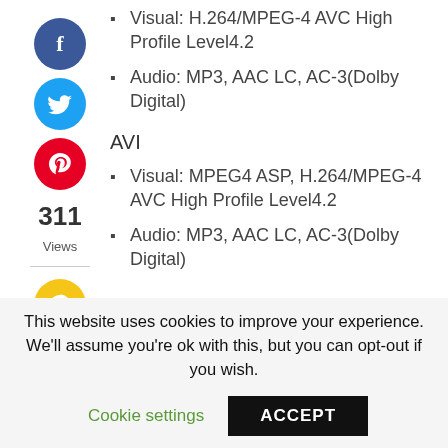Visual: H.264/MPEG-4 AVC High Profile Level4.2
Audio: MP3, AAC LC, AC-3(Dolby Digital)
AVI
311
Views
Visual: MPEG4 ASP, H.264/MPEG-4 AVC High Profile Level4.2
Audio: MP3, AAC LC, AC-3(Dolby Digital)
This website uses cookies to improve your experience. We'll assume you're ok with this, but you can opt-out if you wish.
Cookie settings
ACCEPT